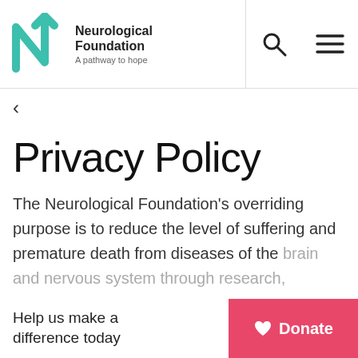[Figure (logo): Neurological Foundation logo with teal N and upward arrow, text 'Neurological Foundation — A pathway to hope']
< (back navigation)
Privacy Policy
The Neurological Foundation's overriding purpose is to reduce the level of suffering and premature death from diseases of the brain and nervous system through research,
Help us make a difference today
Donate